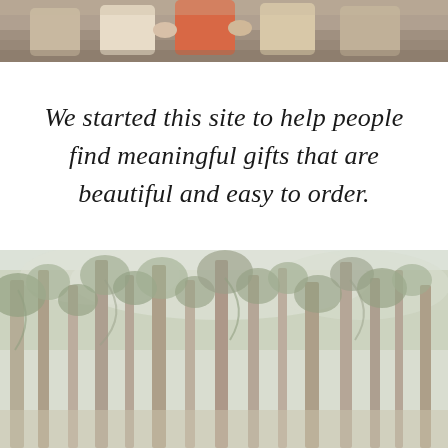[Figure (photo): Top portion of a photo showing people outdoors, partially cropped, with warm earthy tones suggesting an outdoor gathering or wedding setting]
We started this site to help people find meaningful gifts that are beautiful and easy to order.
[Figure (photo): A forest scene with tall pine/evergreen trees, soft natural light filtering through branches, muted green and beige tones, outdoor nature photography]